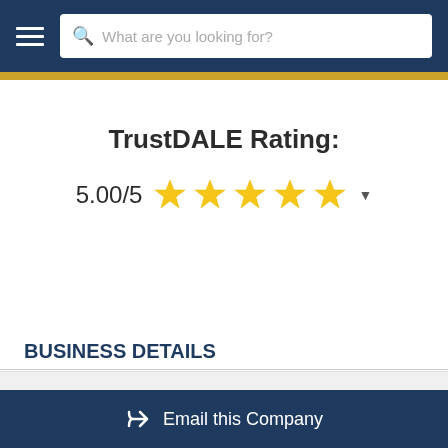Navigation bar with hamburger menu and search box: What are you looking for?
TrustDALE Rating:
5.00/5 ★★★★★ ▾
BUSINESS DETAILS
LICENSED ✓
Email this Company